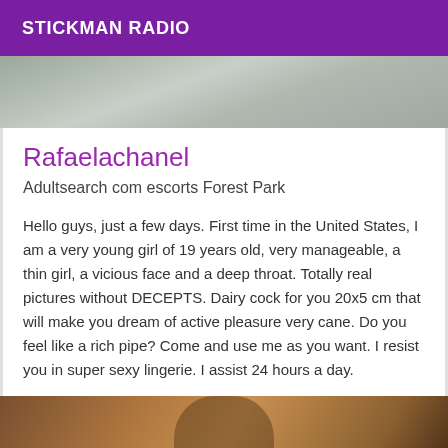STICKMAN RADIO
[Figure (photo): Top portion of a photo showing an outdoor stone/concrete surface, partially cropped]
Rafaelachanel
Adultsearch com escorts Forest Park
Hello guys, just a few days. First time in the United States, I am a very young girl of 19 years old, very manageable, a thin girl, a vicious face and a deep throat. Totally real pictures without DECEPTS. Dairy cock for you 20x5 cm that will make you dream of active pleasure very cane. Do you feel like a rich pipe? Come and use me as you want. I resist you in super sexy lingerie. I assist 24 hours a day.
[Figure (photo): Bottom photo showing a woman with long brown hair in profile view, warm brown/amber background tones]